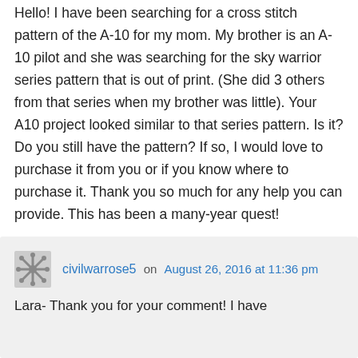Hello! I have been searching for a cross stitch pattern of the A-10 for my mom. My brother is an A-10 pilot and she was searching for the sky warrior series pattern that is out of print. (She did 3 others from that series when my brother was little). Your A10 project looked similar to that series pattern. Is it? Do you still have the pattern? If so, I would love to purchase it from you or if you know where to purchase it. Thank you so much for any help you can provide. This has been a many-year quest!
↳ Reply
civilwarrose5 on August 26, 2016 at 11:36 pm
Lara- Thank you for your comment! I have